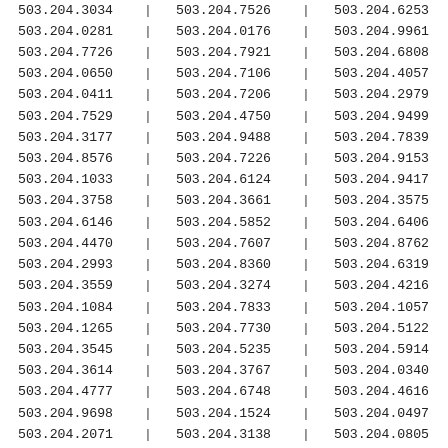| 503.204.3034 | | | 503.204.7526 | | | 503.204.6253 | | |
| 503.204.0281 | | | 503.204.0176 | | | 503.204.9961 | | |
| 503.204.7726 | | | 503.204.7921 | | | 503.204.6808 | | |
| 503.204.0650 | | | 503.204.7106 | | | 503.204.4057 | | |
| 503.204.0411 | | | 503.204.7206 | | | 503.204.2979 | | |
| 503.204.7529 | | | 503.204.4750 | | | 503.204.9499 | | |
| 503.204.3177 | | | 503.204.9488 | | | 503.204.7839 | | |
| 503.204.8576 | | | 503.204.7226 | | | 503.204.9153 | | |
| 503.204.1033 | | | 503.204.6124 | | | 503.204.9417 | | |
| 503.204.3758 | | | 503.204.3661 | | | 503.204.3575 | | |
| 503.204.6146 | | | 503.204.5852 | | | 503.204.6406 | | |
| 503.204.4470 | | | 503.204.7607 | | | 503.204.8762 | | |
| 503.204.2993 | | | 503.204.8360 | | | 503.204.6319 | | |
| 503.204.3559 | | | 503.204.3274 | | | 503.204.4216 | | |
| 503.204.1084 | | | 503.204.7833 | | | 503.204.1057 | | |
| 503.204.1265 | | | 503.204.7730 | | | 503.204.5122 | | |
| 503.204.3545 | | | 503.204.5235 | | | 503.204.5914 | | |
| 503.204.3614 | | | 503.204.3767 | | | 503.204.0340 | | |
| 503.204.4777 | | | 503.204.6748 | | | 503.204.4616 | | |
| 503.204.9698 | | | 503.204.1524 | | | 503.204.0497 | | |
| 503.204.2071 | | | 503.204.3138 | | | 503.204.0805 | | |
| 503.204.5336 | | | 503.204.4539 | | | 503.204.4742 | | |
| 503.204.1348 | | | 503.204.7015 | | | 503.204.7500 | | |
| 503.204.2298 | | | 503.204.5290 | | | 503.204.2055 | | |